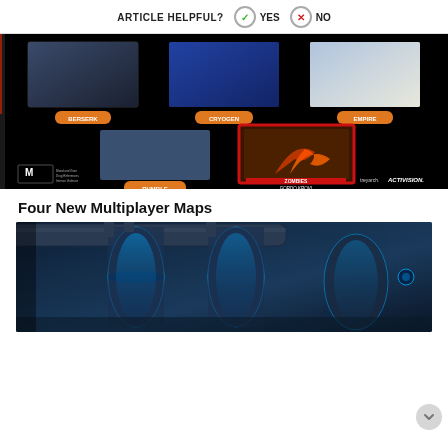ARTICLE HELPFUL? YES NO
[Figure (screenshot): Black Ops 3 DLC promotional image showing five maps: Berserk, Cryogen, Empire, Rumble, and Zombies Gordo Krovi. Includes ESRB M rating, Treyarch and Activision logos.]
Four New Multiplayer Maps
[Figure (screenshot): Screenshot of a dark sci-fi multiplayer map interior with large pipes, glowing blue elements, and cylindrical containers.]